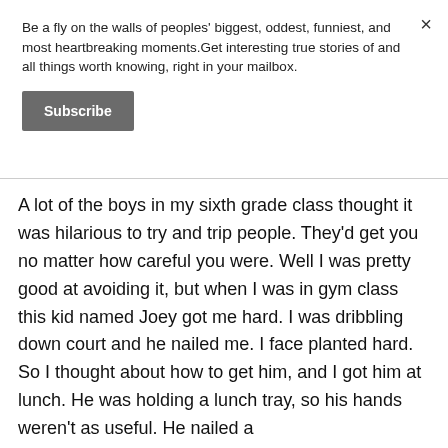Be a fly on the walls of peoples' biggest, oddest, funniest, and most heartbreaking moments.Get interesting true stories of and all things worth knowing, right in your mailbox.
Subscribe
A lot of the boys in my sixth grade class thought it was hilarious to try and trip people. They'd get you no matter how careful you were. Well I was pretty good at avoiding it, but when I was in gym class this kid named Joey got me hard. I was dribbling down court and he nailed me. I face planted hard. So I thought about how to get him, and I got him at lunch. He was holding a lunch tray, so his hands weren't as useful. He nailed a